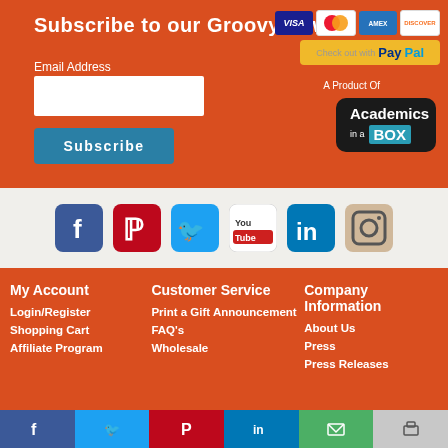Subscribe to our Groovy News!
Email Address
[Figure (logo): Subscribe button (teal/blue rectangle)]
[Figure (logo): Payment icons: VISA, MasterCard, AmEx, Discover]
[Figure (logo): Check out with PayPal button]
A Product Of
[Figure (logo): Academics in a BOX logo badge]
[Figure (logo): Social media icons: Facebook, Pinterest, Twitter, YouTube, LinkedIn, Instagram]
My Account
Login/Register
Shopping Cart
Affiliate Program
Customer Service
Print a Gift Announcement
FAQ's
Wholesale
Company Information
About Us
Press
Press Releases
Share bar: Facebook, Twitter, Pinterest, LinkedIn, Email, Print